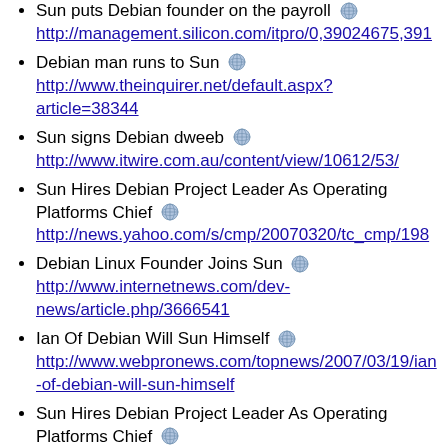Sun puts Debian founder on the payroll [globe] http://management.silicon.com/itpro/0,39024675,391...
Debian man runs to Sun [globe] http://www.theinquirer.net/default.aspx?article=38344
Sun signs Debian dweeb [globe] http://www.itwire.com.au/content/view/10612/53/
Sun Hires Debian Project Leader As Operating Platforms Chief [globe] http://news.yahoo.com/s/cmp/20070320/tc_cmp/198...
Debian Linux Founder Joins Sun [globe] http://www.internetnews.com/dev-news/article.php/3666541
Ian Of Debian Will Sun Himself [globe] http://www.webpronews.com/topnews/2007/03/19/ian-of-debian-will-sun-himself
Sun Hires Debian Project Leader As Operating Platforms Chief [globe] ...